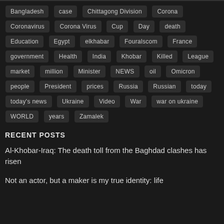Bangladesh
case
Chittagong Division
Corona
Coronavirus
Corona Virus
Cup
Day
death
Education
Egypt
elkhabar
Fouralscom
France
government
Health
India
Khobar
Killed
League
market
million
Minister
NEWS
oil
Omicron
people
President
prices
Russia
Russian
today
today's news
Ukraine
Video
War
war on ukraine
WORLD
years
Zamalek
RECENT POSTS
Al-Khobar-Iraq: The death toll from the Baghdad clashes has risen
Not an actor, but a maker is my true identity: life